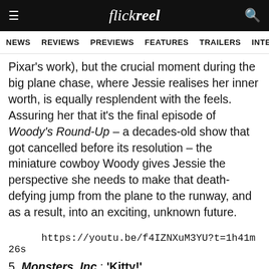flickreel
NEWS  REVIEWS  PREVIEWS  FEATURES  TRAILERS  INTERVIEWS
Pixar's work), but the crucial moment during the big plane chase, where Jessie realises her inner worth, is equally resplendent with the feels. Assuring her that it's the final episode of Woody's Round-Up – a decades-old show that got cancelled before its resolution – the miniature cowboy Woody gives Jessie the perspective she needs to make that death-defying jump from the plane to the runway, and as a result, into an exciting, unknown future.
https://youtu.be/f4IZNXuM3YU?t=1h41m26s
5. Monsters, Inc.: 'Kitty!'